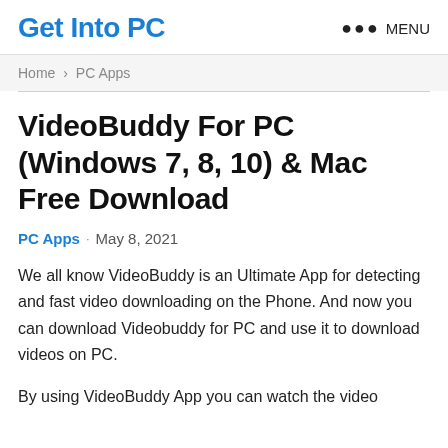Get Into PC
Home > PC Apps
VideoBuddy For PC (Windows 7, 8, 10) & Mac Free Download
PC Apps · May 8, 2021
We all know VideoBuddy is an Ultimate App for detecting and fast video downloading on the Phone. And now you can download Videobuddy for PC and use it to download videos on PC.
By using VideoBuddy App you can watch the video